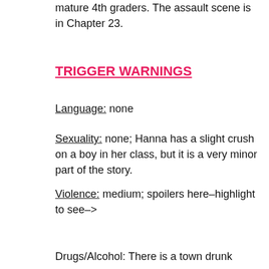mature 4th graders. The assault scene is in Chapter 23.
TRIGGER WARNINGS
Language: none
Sexuality: none; Hanna has a slight crush on a boy in her class, but it is a very minor part of the story.
Violence: medium; spoilers here–highlight to see–>
Drugs/Alcohol: There is a town drunk